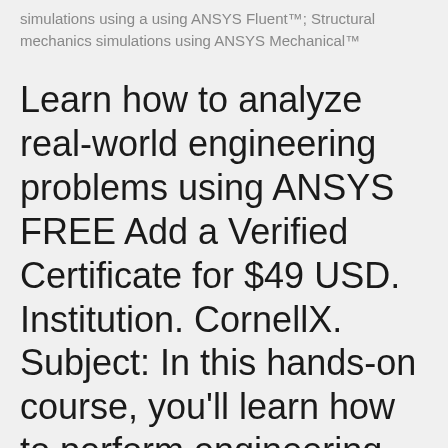simulations using a using ANSYS Fluent™; Structural mechanics simulations using ANSYS Mechanical™
Learn how to analyze real-world engineering problems using ANSYS FREE Add a Verified Certificate for $49 USD. Institution. CornellX. Subject: In this hands-on course, you'll learn how to perform engineering simulations using a using ANSYS Fluent™; Structural mechanics simulations using ANSYS